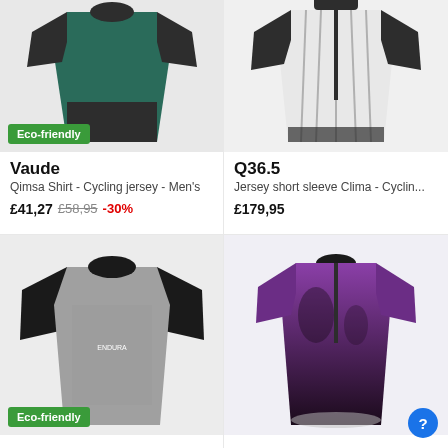[Figure (photo): Vaude Qimsa cycling jersey - green and dark grey/black color, short sleeve, shown from front, with Eco-friendly badge]
Vaude
Qimsa Shirt - Cycling jersey - Men's
£41,27  £58,95  -30%
[Figure (photo): Q36.5 Jersey short sleeve Clima - white/grey striped cycling jersey, short sleeve, shown from front]
Q36.5
Jersey short sleeve Clima - Cyclin...
£179,95
[Figure (photo): Endura grey melange short sleeve cycling jersey with black raglan sleeves, with Eco-friendly badge]
Eco-friendly
[Figure (photo): Purple and black cycling jersey, short sleeve, women's fit, gradient design]